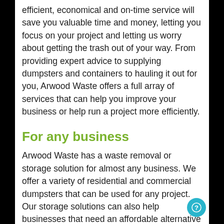efficient, economical and on-time service will save you valuable time and money, letting you focus on your project and letting us worry about getting the trash out of your way. From providing expert advice to supplying dumpsters and containers to hauling it out for you, Arwood Waste offers a full array of services that can help you improve your business or help run a project more efficiently.
For any business
Arwood Waste has a waste removal or storage solution for almost any business. We offer a variety of residential and commercial dumpsters that can be used for any project. Our storage solutions can also help businesses that need an affordable alternative to